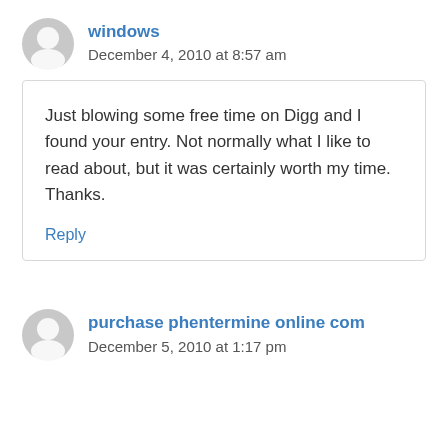windows
December 4, 2010 at 8:57 am
Just blowing some free time on Digg and I found your entry. Not normally what I like to read about, but it was certainly worth my time. Thanks.
Reply
purchase phentermine online com
December 5, 2010 at 1:17 pm